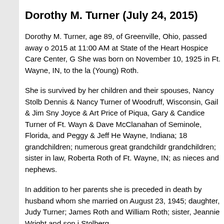Dorothy M. Turner (July 24, 2015)
Dorothy M. Turner, age 89, of Greenville, Ohio, passed away o 2015 at 11:00 AM at State of the Heart Hospice Care Center, G She was born on November 10, 1925 in Ft. Wayne, IN, to the la (Young) Roth.
She is survived by her children and their spouses, Nancy Stolb Dennis & Nancy Turner of Woodruff, Wisconsin, Gail & Jim Sny Joyce & Art Price of Piqua, Gary & Candice Turner of Ft. Wayn & Dave McClanahan of Seminole, Florida, and Peggy & Jeff He Wayne, Indiana; 18 grandchildren; numerous great grandchildr grandchildren; sister in law, Roberta Roth of Ft. Wayne, IN; as nieces and nephews.
In addition to her parents she is preceded in death by husband whom she married on August 23, 1945; daughter, Judy Turner; James Roth and William Roth; sister, Jeannie Wright and son i Stolberg
Dorothy was a member of St. Mary's Catholic Church where sh